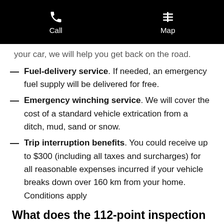Call   Map
your car, we will help you get back on the road.
Fuel-delivery service. If needed, an emergency fuel supply will be delivered for free.
Emergency winching service. We will cover the cost of a standard vehicle extrication from a ditch, mud, sand or snow.
Trip interruption benefits. You could receive up to $300 (including all taxes and surcharges) for all reasonable expenses incurred if your vehicle breaks down over 160 km from your home. Conditions apply
What does the 112-point inspection cover?